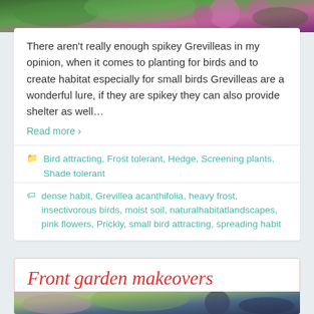[Figure (photo): Top partial image showing pink/purple flowers and green foliage (Grevillea plant)]
There aren't really enough spikey Grevilleas in my opinion, when it comes to planting for birds and to create habitat especially for small birds Grevilleas are a wonderful lure, if they are spikey they can also provide shelter as well…
Read more ›
Bird attracting, Frost tolerant, Hedge, Screening plants, Shade tolerant
dense habit, Grevillea acanthifolia, heavy frost, insectivorous birds, moist soil, naturalhabitatlandscapes, pink flowers, Prickly, small bird attracting, spreading habit
Front garden makeovers
[Figure (photo): Bottom partial image showing a front garden with flowering shrubs and dark hedging]